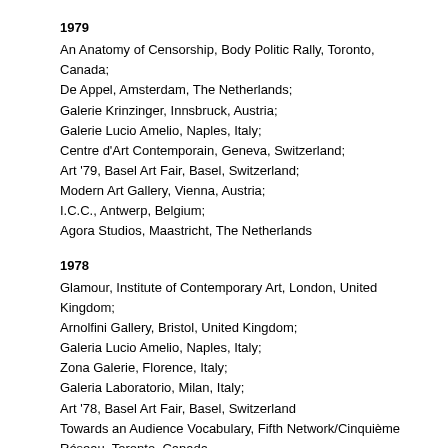1979
An Anatomy of Censorship, Body Politic Rally, Toronto, Canada;
De Appel, Amsterdam, The Netherlands;
Galerie Krinzinger, Innsbruck, Austria;
Galerie Lucio Amelio, Naples, Italy;
Centre d'Art Contemporain, Geneva, Switzerland;
Art '79, Basel Art Fair, Basel, Switzerland;
Modern Art Gallery, Vienna, Austria;
I.C.C., Antwerp, Belgium;
Agora Studios, Maastricht, The Netherlands
1978
Glamour, Institute of Contemporary Art, London, United Kingdom;
Arnolfini Gallery, Bristol, United Kingdom;
Galeria Lucio Amelio, Naples, Italy;
Zona Galerie, Florence, Italy;
Galeria Laboratorio, Milan, Italy;
Art '78, Basel Art Fair, Basel, Switzerland
Towards an Audience Vocabulary, Fifth Network/Cinquième Réseau, Toronto, Canada
High Profile, CN Tower, Toronto, Canada